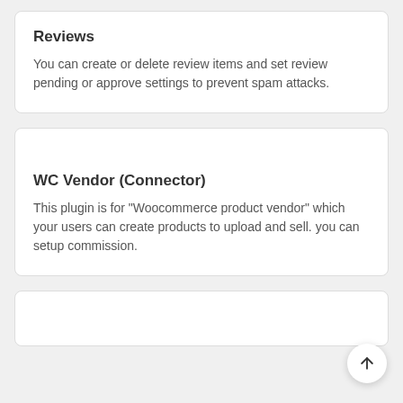Reviews
You can create or delete review items and set review pending or approve settings to prevent spam attacks.
WC Vendor (Connector)
This plugin is for "Woocommerce product vendor" which your users can create products to upload and sell. you can setup commission.